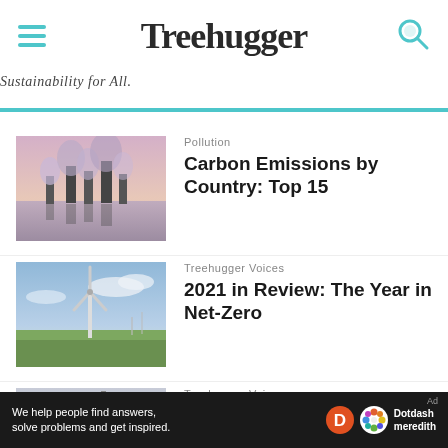Treehugger — Sustainability for All.
[Figure (photo): Industrial smokestacks emitting smoke reflected in water at dusk, purple-pink sky]
Pollution
Carbon Emissions by Country: Top 15
[Figure (photo): Wind turbine in green field with blue sky and clouds]
Treehugger Voices
2021 in Review: The Year in Net-Zero
[Figure (photo): Industrial factory with large tower structures against grey sky]
Treehugger Voices
Britain's Carbon Dioxide Shortage Sends Important
We help people find answers, solve problems and get inspired. Dotdash meredith